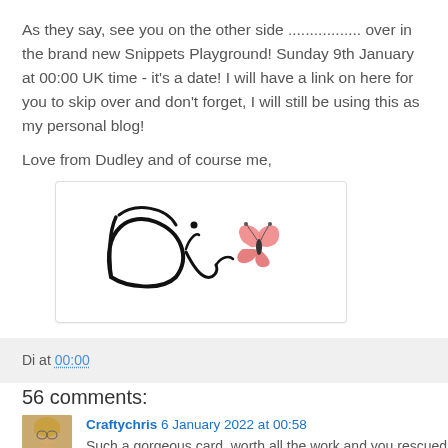As they say, see you on the other side ................. over in the brand new Snippets Playground! Sunday 9th January at 00:00 UK time - it's a date! I will have a link on here for you to skip over and don't forget, I will still be using this as my personal blog!
Love from Dudley and of course me,
[Figure (illustration): Signature image showing cursive 'Di' in black with a pink/coral butterfly illustration]
Di at 00:00
56 comments:
Craftychris 6 January 2022 at 00:58
Such a gorgeous card, worth all the work and you rescued